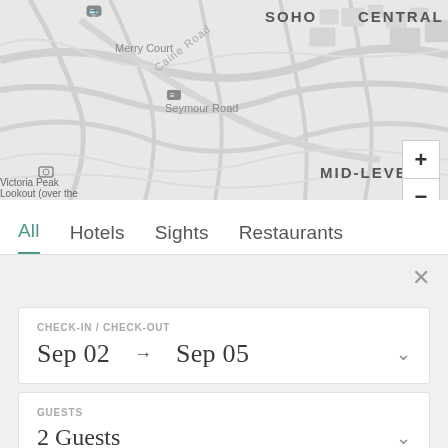[Figure (map): Street map of Hong Kong showing Soho, Central, Mid-Levels neighborhoods with roads including Caine Road, Seymour Road, Merry Court. Map controls with + and - zoom buttons visible. Labels include Victoria Peak Lookout (over the Victoria Harbour), MTR Station, Admiralty.]
All
Hotels
Sights
Restaurants
×
CHECK-IN / CHECK-OUT
Sep 02  →  Sep 05
GUESTS
2 Guests
CHECK RATES